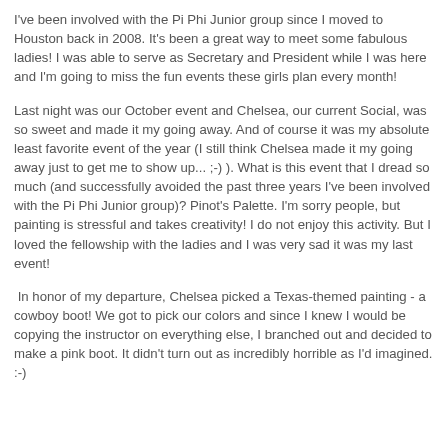I've been involved with the Pi Phi Junior group since I moved to Houston back in 2008. It's been a great way to meet some fabulous ladies! I was able to serve as Secretary and President while I was here and I'm going to miss the fun events these girls plan every month!
Last night was our October event and Chelsea, our current Social, was so sweet and made it my going away. And of course it was my absolute least favorite event of the year (I still think Chelsea made it my going away just to get me to show up... ;-) ). What is this event that I dread so much (and successfully avoided the past three years I've been involved with the Pi Phi Junior group)? Pinot's Palette. I'm sorry people, but painting is stressful and takes creativity! I do not enjoy this activity. But I loved the fellowship with the ladies and I was very sad it was my last event!
In honor of my departure, Chelsea picked a Texas-themed painting - a cowboy boot! We got to pick our colors and since I knew I would be copying the instructor on everything else, I branched out and decided to make a pink boot. It didn't turn out as incredibly horrible as I'd imagined. :-)